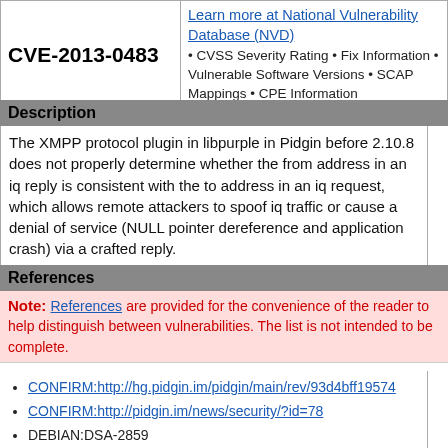| CVE ID | NVD Info |
| --- | --- |
| CVE-2013-0483 | Learn more at National Vulnerability Database (NVD) • CVSS Severity Rating • Fix Information • Vulnerable Software Versions • SCAP Mappings • CPE Information |
Description
The XMPP protocol plugin in libpurple in Pidgin before 2.10.8 does not properly determine whether the from address in an iq reply is consistent with the to address in an iq request, which allows remote attackers to spoof iq traffic or cause a denial of service (NULL pointer dereference and application crash) via a crafted reply.
References
Note: References are provided for the convenience of the reader to help distinguish between vulnerabilities. The list is not intended to be complete.
CONFIRM:http://hg.pidgin.im/pidgin/main/rev/93d4bff19574
CONFIRM:http://pidgin.im/news/security/?id=78
DEBIAN:DSA-2859
URL:http://www.debian.org/security/2014/dsa-2859
REDHAT:RHSA-2014:0139
URL:https://rhn.redhat.com/errata/RHSA-2014-0139.html
SUSE:openSUSE-SU-2014:0239